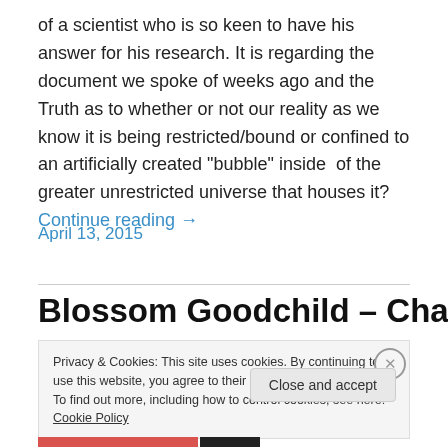of a scientist who is so keen to have his answer for his research. It is regarding the document we spoke of weeks ago and the Truth as to whether or not our reality as we know it is being restricted/bound or confined to an artificially created "bubble" inside of the greater unrestricted universe that houses it? Continue reading →
April 13, 2015
Blossom Goodchild – Chat & A
Privacy & Cookies: This site uses cookies. By continuing to use this website, you agree to their use.
To find out more, including how to control cookies, see here: Cookie Policy
Close and accept